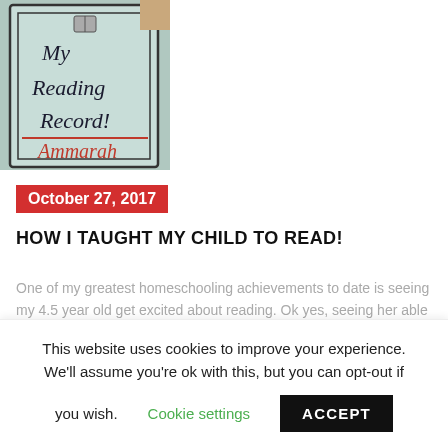[Figure (photo): A reading record booklet cover with cursive text 'My Reading Record!' and the name 'Ammarah' written in red cursive, on a light blue background with a small book icon.]
October 27, 2017
HOW I TAUGHT MY CHILD TO READ!
One of my greatest homeschooling achievements to date is seeing my 4.5 year old get excited about reading. Ok yes, seeing her able to sound out and attempt to read her level
This website uses cookies to improve your experience. We'll assume you're ok with this, but you can opt-out if you wish. Cookie settings ACCEPT